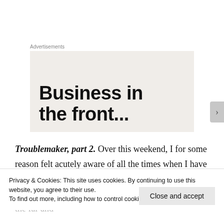Advertisements
[Figure (other): Advertisement placeholder box with text 'Business in the front...' in large bold sans-serif on a beige/tan background]
Troublemaker, part 2. Over this weekend, I for some reason felt acutely aware of all the times when I have failed others, either my friends, family, or strangers. I felt heavy and ashamed for all of the times in both the far and
Privacy & Cookies: This site uses cookies. By continuing to use this website, you agree to their use.
To find out more, including how to control cookies, see here: Cookie Policy
Close and accept